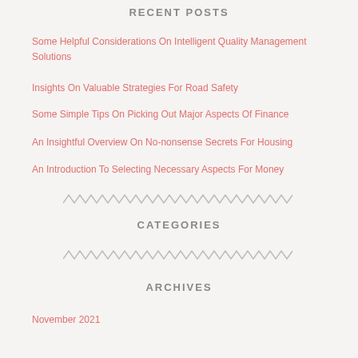RECENT POSTS
Some Helpful Considerations On Intelligent Quality Management Solutions
Insights On Valuable Strategies For Road Safety
Some Simple Tips On Picking Out Major Aspects Of Finance
An Insightful Overview On No-nonsense Secrets For Housing
An Introduction To Selecting Necessary Aspects For Money
CATEGORIES
ARCHIVES
November 2021